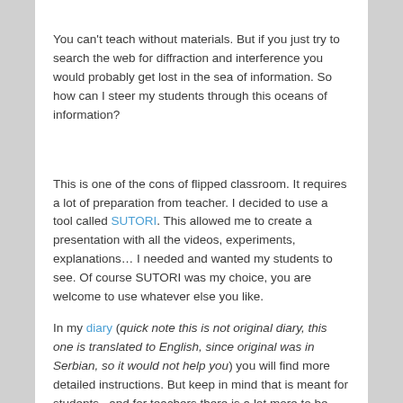You can't teach without materials. But if you just try to search the web for diffraction and interference you would probably get lost in the sea of information. So how can I steer my students through this oceans of information?
This is one of the cons of flipped classroom. It requires a lot of preparation from teacher. I decided to use a tool called SUTORI. This allowed me to create a presentation with all the videos, experiments, explanations… I needed and wanted my students to see. Of course SUTORI was my choice, you are welcome to use whatever else you like.
In my diary (quick note this is not original diary, this one is translated to English, since original was in Serbian, so it would not help you) you will find more detailed instructions. But keep in mind that is meant for students , and for teachers there is a lot more to be done before performing this activity in classroom.